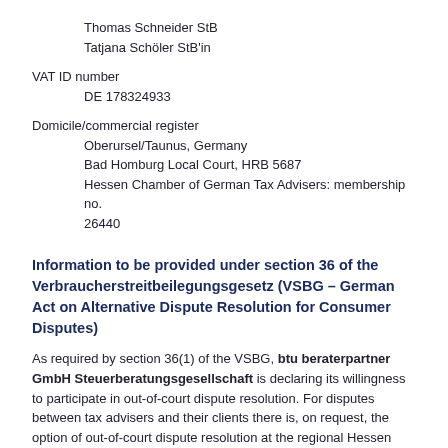Thomas Schneider StB
Tatjana Schöler StB'in
VAT ID number
DE 178324933
Domicile/commercial register
Oberursel/Taunus, Germany
Bad Homburg Local Court, HRB 5687
Hessen Chamber of German Tax Advisers: membership no. 26440
Information to be provided under section 36 of the Verbraucherstreitbeilegungsgesetz (VSBG – German Act on Alternative Dispute Resolution for Consumer Disputes)
As required by section 36(1) of the VSBG, btu beraterpartner GmbH Steuerberatungsgesellschaft is declaring its willingness to participate in out-of-court dispute resolution. For disputes between tax advisers and their clients there is, on request, the option of out-of-court dispute resolution at the regional Hessen Chamber of